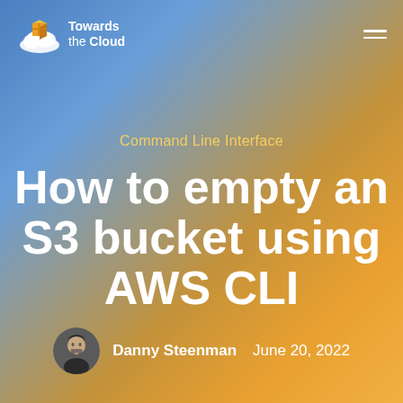[Figure (logo): Towards the Cloud logo with cloud and box icon, white text on gradient background]
Command Line Interface
How to empty an S3 bucket using AWS CLI
Danny Steenman   June 20, 2022